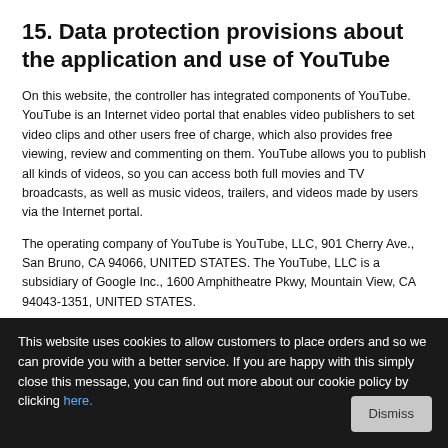15. Data protection provisions about the application and use of YouTube
On this website, the controller has integrated components of YouTube. YouTube is an Internet video portal that enables video publishers to set video clips and other users free of charge, which also provides free viewing, review and commenting on them. YouTube allows you to publish all kinds of videos, so you can access both full movies and TV broadcasts, as well as music videos, trailers, and videos made by users via the Internet portal.
The operating company of YouTube is YouTube, LLC, 901 Cherry Ave., San Bruno, CA 94066, UNITED STATES. The YouTube, LLC is a subsidiary of Google Inc., 1600 Amphitheatre Pkwy, Mountain View, CA 94043-1351, UNITED STATES.
With each call-up to one of the individual pages of this Internet site, which is operated by the controller and on which a YouTube component
This website uses cookies to allow customers to place orders and so we can provide you with a better service. If you are happy with this simply close this message, you can find out more about our cookie policy by clicking here.